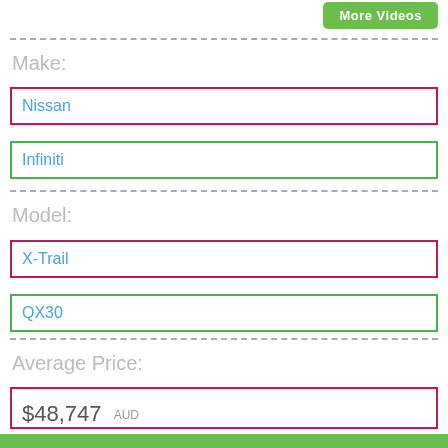More Videos
Make:
Nissan
Infiniti
Model:
X-Trail
QX30
Average Price:
$48,747  AUD
Updated: 03 Jan 2019